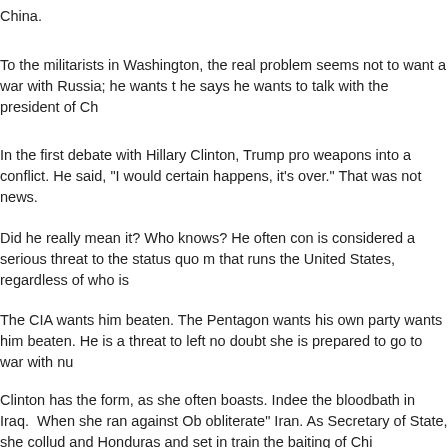China.
To the militarists in Washington, the real problem seems not to want a war with Russia; he wants to talk with the president of Ch...
In the first debate with Hillary Clinton, Trump pro... weapons into a conflict. He said, "I would certain... happens, it's over." That was not news.
Did he really mean it? Who knows? He often co... is considered a serious threat to the status quo n... that runs the United States, regardless of who is...
The CIA wants him beaten. The Pentagon wants... his own party wants him beaten. He is a threat to... left no doubt she is prepared to go to war with nu...
Clinton has the form, as she often boasts. Indee... the bloodbath in Iraq. When she ran against Ob... obliterate" Iran. As Secretary of State, she colluc... and Honduras and set in train the baiting of Chi...
She has now pledged to support a No Fly Zone ... Russia. Clinton may well become the most dang...